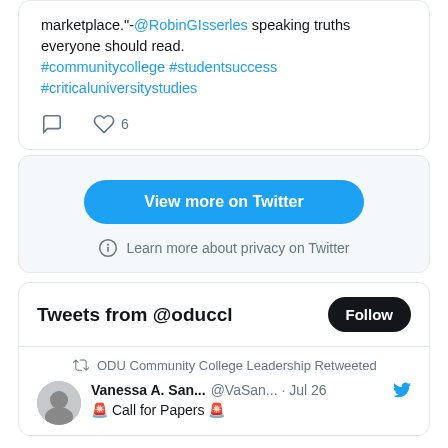marketplace."-@RobinGIsserles speaking truths everyone should read. #communitycollege #studentsuccess #criticaluniversitystudies
[Figure (screenshot): Twitter action icons: comment and heart with count 6]
View more on Twitter
Learn more about privacy on Twitter
Tweets from @oduccl
Follow
ODU Community College Leadership Retweeted
Vanessa A. San... @VaSan... · Jul 26
🚨 Call for Papers 🚨